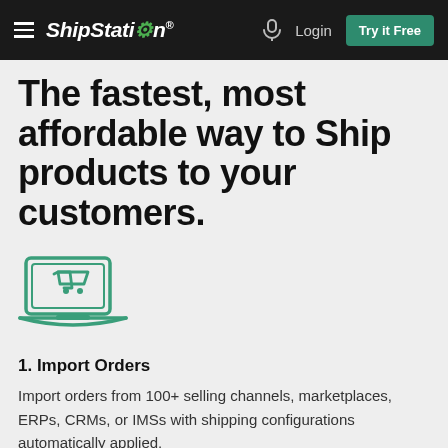ShipStation — Login — Try it Free
The fastest, most affordable way to Ship products to your customers.
[Figure (illustration): Laptop with a shopping cart icon on screen, drawn in green outline style]
1. Import Orders
Import orders from 100+ selling channels, marketplaces, ERPs, CRMs, or IMSs with shipping configurations automatically applied.